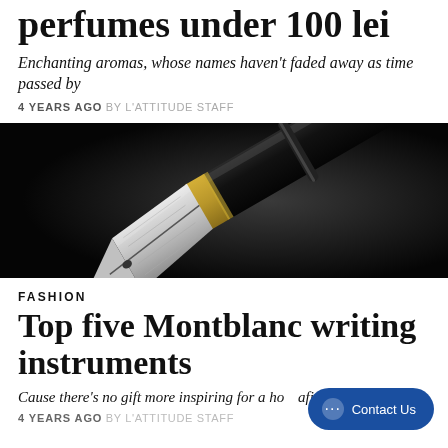perfumes under 100 lei
Enchanting aromas, whose names haven't faded away as time passed by
4 YEARS AGO BY L'ATTITUDE STAFF
[Figure (photo): Close-up macro photo of a Montblanc fountain pen nib, showing engraved silver nib and gold trim against a dark background]
FASHION
Top five Montblanc writing instruments
Cause there's no gift more inspiring for a how aficionada
4 YEARS AGO BY L'ATTITUDE STAFF